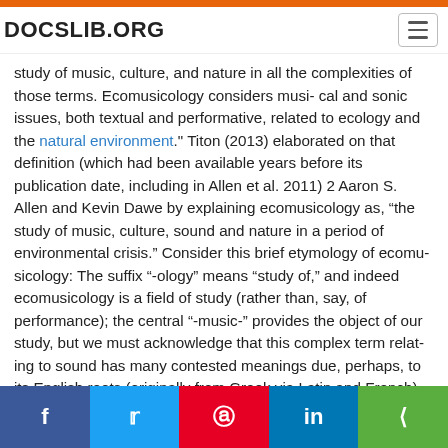DOCSLIB.ORG
study of music, culture, and nature in all the complexities of those terms. Ecomusicology considers musi- cal and sonic issues, both textual and performative, related to ecology and the natural environment." Titon (2013) elaborated on that definition (which had been available years before its publication date, including in Allen et al. 2011) 2 Aaron S. Allen and Kevin Dawe by explaining ecomusicology as, “the study of music, culture, sound and nature in a period of environmental crisis.” Consider this brief etymology of ecomu- sicology: The suffix “-ology” means “study of,” and indeed ecomusicology is a field of study (rather than, say, of performance); the central “-music-” provides the object of our study, but we must acknowledge that this complex term relat- ing to sound has many contested meanings due, perhaps, to its English roots (originally from Greek via Latin and French) meaning products of the nine Muses; and the prefix “eco-” is equally complex, with meanings ranging from the popular “green,” “sustainable,” “environmentally friendly,” or “natural” to the more scholarly economics or ecology, both of which share the Greek
f  t  p  in  <